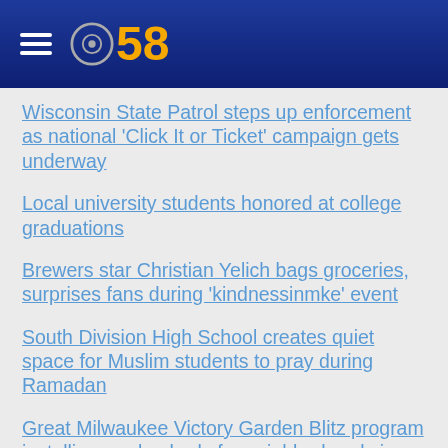CBS 58
Wisconsin State Patrol steps up enforcement as national 'Click It or Ticket' campaign gets underway
Local university students honored at college graduations
Brewers star Christian Yelich bags groceries, surprises fans during 'kindnessinmke' event
South Division High School creates quiet space for Muslim students to pray during Ramadan
Great Milwaukee Victory Garden Blitz program installing garden beds for neighborhoods in need
Tips for dog owners considering day care options
Muslim community celebrates Eid with festival at Wisconsin State Fair grounds